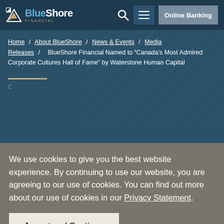BlueShore Financial — Online Banking
Home / About BlueShore / News & Events / Media Releases / BlueShore Financial Named to "Canada's Most Admired Corporate Cultures Hall of Fame" by Waterstone Human Capital
We use cookies to give you the best website experience. By continuing to use our website, you are agreeing to our use of cookies. You can find out more about our use of cookies in our Privacy Statement.
Accept and Continue